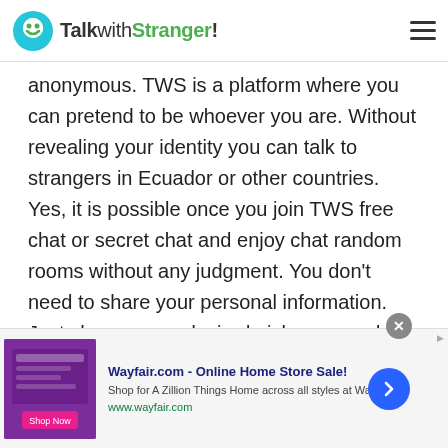TalkwithStranger!
anonymous. TWS is a platform where you can pretend to be whoever you are. Without revealing your identity you can talk to strangers in Ecuador or other countries. Yes, it is possible once you join TWS free chat or secret chat and enjoy chat random rooms without any judgment. You don't need to share your personal information. Just choose your desired nickname and you are all set to talk to strangers in Ecuador or worldwide.
Stranger chat
[Figure (screenshot): Wayfair.com advertisement banner - Online Home Store Sale! Shop for A Zillion Things Home across all styles at Wayfair! www.wayfair.com]